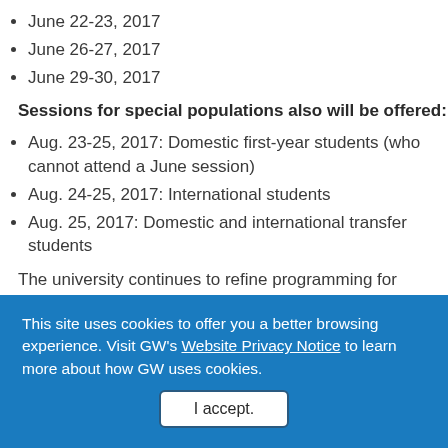June 22-23, 2017
June 26-27, 2017
June 29-30, 2017
Sessions for special populations also will be offered:
Aug. 23-25, 2017: Domestic first-year students (who cannot attend a June session)
Aug. 24-25, 2017: International students
Aug. 25, 2017: Domestic and international transfer students
The university continues to refine programming for
This site uses cookies to offer you a better browsing experience. Visit GW's Website Privacy Notice to learn more about how GW uses cookies.